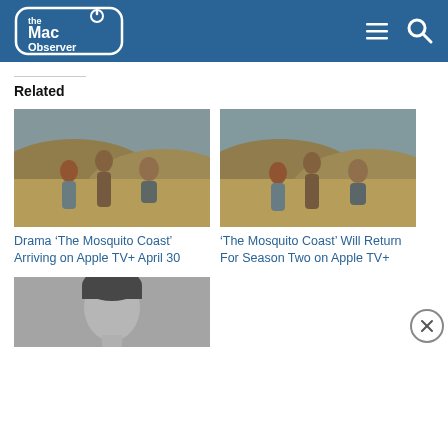The Mac Observer
Related
[Figure (photo): The Mosquito Coast TV show cast sitting outdoors on a hillside - left card]
Drama ‘The Mosquito Coast’ Arriving on Apple TV+ April 30
[Figure (photo): The Mosquito Coast TV show cast sitting outdoors on a hillside - right card]
‘The Mosquito Coast’ Will Return For Season Two on Apple TV+
[Figure (photo): Black and white portrait photo - partially visible at bottom]